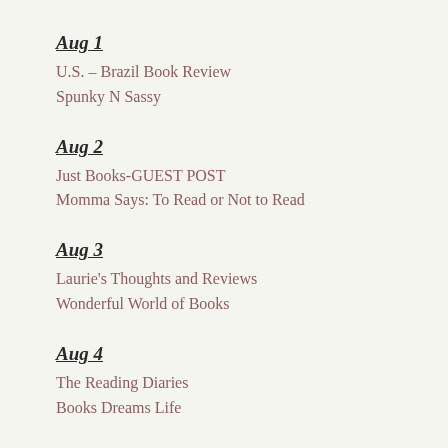Aug 1
U.S. – Brazil Book Review
Spunky N Sassy
Aug 2
Just Books-GUEST POST
Momma Says: To Read or Not to Read
Aug 3
Laurie's Thoughts and Reviews
Wonderful World of Books
Aug 4
The Reading Diaries
Books Dreams Life
Aug 5
Mello & June